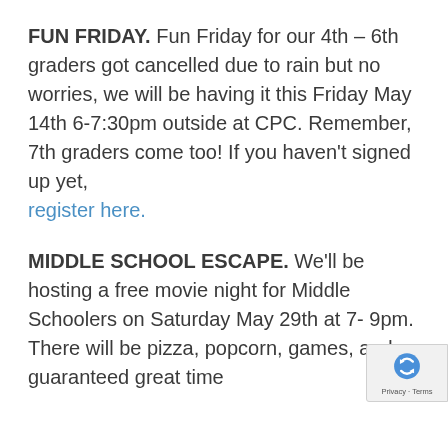FUN FRIDAY. Fun Friday for our 4th – 6th graders got cancelled due to rain but no worries, we will be having it this Friday May 14th 6-7:30pm outside at CPC. Remember, 7th graders come too! If you haven't signed up yet, register here.
MIDDLE SCHOOL ESCAPE. We'll be hosting a free movie night for Middle Schoolers on Saturday May 29th at 7-9pm. There will be pizza, popcorn, games, and a guaranteed great time